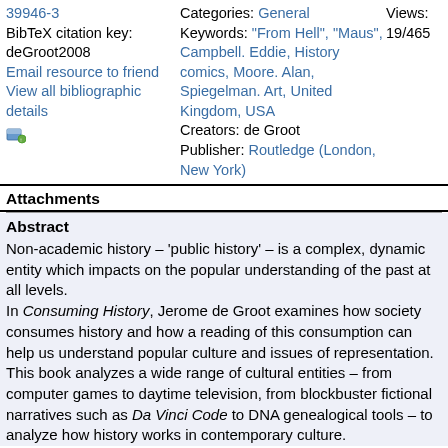39946-3 BibTeX citation key: deGroot2008 Email resource to friend View all bibliographic details [icon]
Categories: General Keywords: "From Hell", "Maus", Campbell. Eddie, History comics, Moore. Alan, Spiegelman. Art, United Kingdom, USA Creators: de Groot Publisher: Routledge (London, New York)
Views: 19/465
Attachments
Abstract
Non-academic history – 'public history' – is a complex, dynamic entity which impacts on the popular understanding of the past at all levels.
In Consuming History, Jerome de Groot examines how society consumes history and how a reading of this consumption can help us understand popular culture and issues of representation. This book analyzes a wide range of cultural entities – from computer games to daytime television, from blockbuster fictional narratives such as Da Vinci Code to DNA genealogical tools – to analyze how history works in contemporary culture.